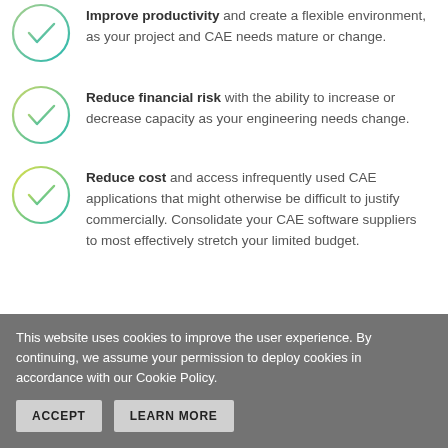Improve productivity and create a flexible environment, as your project and CAE needs mature or change.
Reduce financial risk with the ability to increase or decrease capacity as your engineering needs change.
Reduce cost and access infrequently used CAE applications that might otherwise be difficult to justify commercially. Consolidate your CAE software suppliers to most effectively stretch your limited budget.
This website uses cookies to improve the user experience. By continuing, we assume your permission to deploy cookies in accordance with our Cookie Policy.